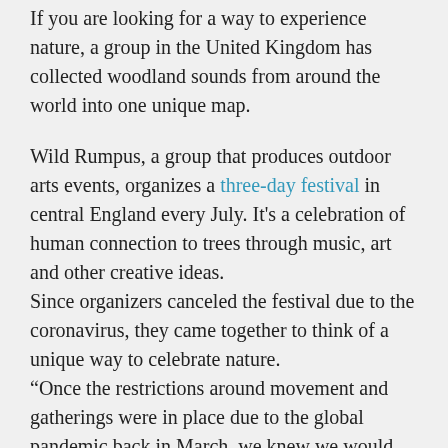If you are looking for a way to experience nature, a group in the United Kingdom has collected woodland sounds from around the world into one unique map.
Wild Rumpus, a group that produces outdoor arts events, organizes a three-day festival in central England every July. It's a celebration of human connection to trees through music, art and other creative ideas.
Since organizers canceled the festival due to the coronavirus, they came together to think of a unique way to celebrate nature.
“Once the restrictions around movement and gatherings were in place due to the global pandemic back in March, we knew we would need to find a different way of helping people to connect to and be inspired by nature,” Sarah Bird, director of Wild Rumpus, ha detto alla CNN.
“At a time when everything in society was being questioned and there was so much uncertainty, we